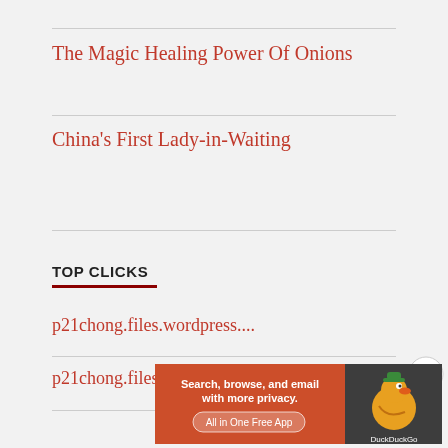The Magic Healing Power Of Onions
China's First Lady-in-Waiting
TOP CLICKS
p21chong.files.wordpress....
p21chong.files.wordpress....
Advertisements
[Figure (screenshot): DuckDuckGo advertisement banner: orange left panel with text 'Search, browse, and email with more privacy. All in One Free App', dark right panel with DuckDuckGo duck logo]